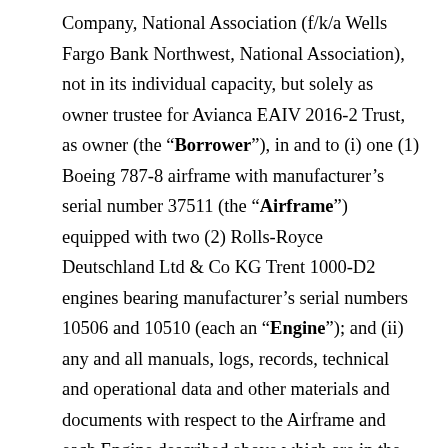Company, National Association (f/k/a Wells Fargo Bank Northwest, National Association), not in its individual capacity, but solely as owner trustee for Avianca EAIV 2016-2 Trust, as owner (the "Borrower"), in and to (i) one (1) Boeing 787-8 airframe with manufacturer's serial number 37511 (the "Airframe") equipped with two (2) Rolls-Royce Deutschland Ltd & Co KG Trent 1000-D2 engines bearing manufacturer's serial numbers 10506 and 10510 (each an "Engine"); and (ii) any and all manuals, logs, records, technical and operational data and other materials and documents with respect to the Airframe and each Engine described above which are in the possession of the